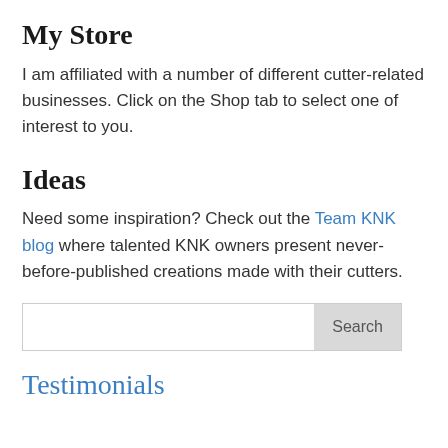My Store
I am affiliated with a number of different cutter-related businesses. Click on the Shop tab to select one of interest to you.
Ideas
Need some inspiration? Check out the Team KNK blog where talented KNK owners present never-before-published creations made with their cutters.
Testimonials